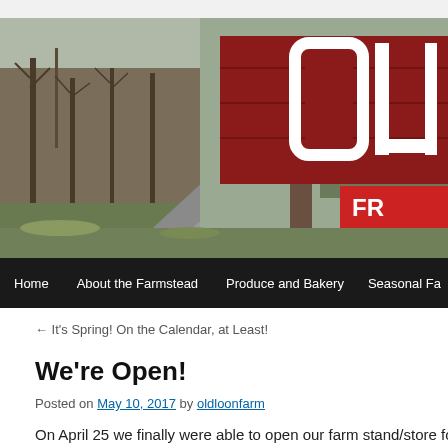[Figure (photo): Outdoor farm scene with a large red wooden sign showing 'OLD' in white letters and a smaller red sign partially visible reading 'FR'. Bare trees in background, gravel driveway, green grass patches. A wooden post supports the sign.]
Home   About the Farmstead   Produce and Bakery   Seasonal Fa
← It's Spring! On the Calendar, at Least!
We're Open!
Posted on May 10, 2017 by oldloonfarm
On April 25 we finally were able to open our farm stand/store fo